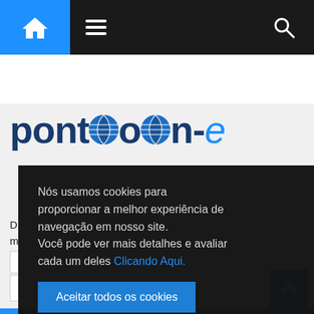[Figure (screenshot): Website navigation bar with home icon (blue background), hamburger menu icon, and search icon on dark background]
[Figure (logo): Pontoon-e logo with globe icons replacing two o letters, in dark blue and light blue italic e]
D... ce que une o m...
[Figure (screenshot): Cookie consent overlay popup with dark background. Text: Nós usamos cookies para proporcionar a melhor experiência de navegação em nosso site. Você pode ver mais detalhes e avaliar cada um deles Clicando Aqui. Button: Aceitar todos os cookies]
[Figure (screenshot): Blue scroll-to-top button with upward chevron arrow]